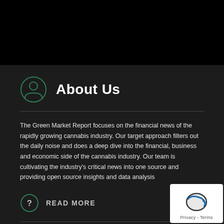About Us
The Green Market Report focuses on the financial news of the rapidly growing cannabis industry. Our target approach filters out the daily noise and does a deep dive into the financial, business and economic side of the cannabis industry. Our team is cultivating the industry's critical news into one source and providing open source insights and data analysis
READ MORE